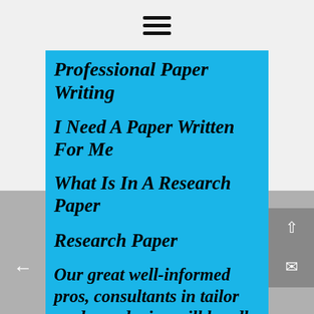≡
Professional Paper Writing
I Need A Paper Written For Me
What Is In A Research Paper
Research Paper
Our great well-informed pros, consultants in tailor made producing will handle your project. It is positively easy to order perfect records